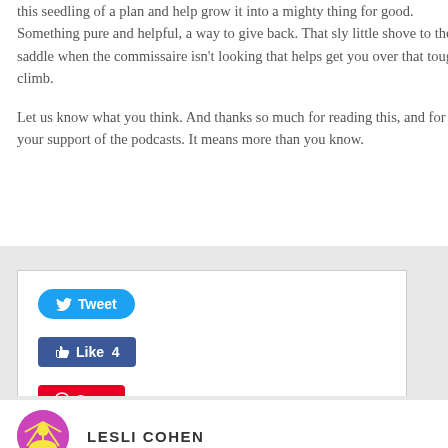this seedling of a plan and help grow it into a mighty thing for good. Something pure and helpful, a way to give back. That sly little shove to the saddle when the commissaire isn't looking that helps get you over that tough climb.

Let us know what you think. And thanks so much for reading this, and for your support of the podcasts. It means more than you know.
[Figure (other): Social sharing buttons: Tweet (Twitter), Like 4 (Facebook), Save (Pinterest)]
LESLI COHEN